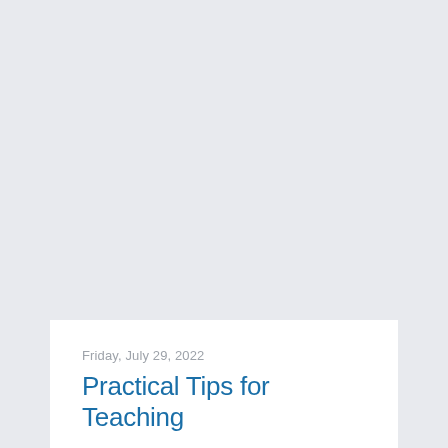Friday, July 29, 2022
Practical Tips for Teaching